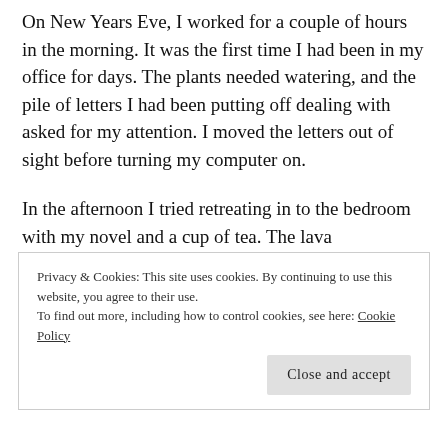On New Years Eve, I worked for a couple of hours in the morning. It was the first time I had been in my office for days. The plants needed watering, and the pile of letters I had been putting off dealing with asked for my attention. I moved the letters out of sight before turning my computer on.
In the afternoon I tried retreating in to the bedroom with my novel and a cup of tea. The lava
Privacy & Cookies: This site uses cookies. By continuing to use this website, you agree to their use.
To find out more, including how to control cookies, see here: Cookie Policy
Close and accept
…continuing text below…